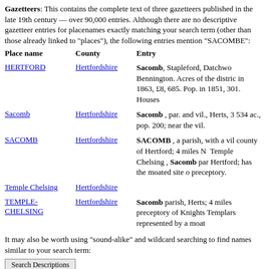Gazetteers: This contains the complete text of three gazetteers published in the late 19th century — over 90,000 entries. Although there are no descriptive gazetteer entries for placenames exactly matching your search term (other than those already linked to "places"), the following entries mention "SACOMBE":
| Place name | County | Entry |
| --- | --- | --- |
| HERTFORD | Hertfordshire | Sacomb, Stapleford, Datchworth Bennington. Acres of the district in 1863, £8, 685. Pop. in 1851, 301. Houses |
| Sacomb | Hertfordshire | Sacomb , par. and vil., Herts, 3 534 ac., pop. 200; near the vil. |
| SACOMB | Hertfordshire | SACOMB , a parish, with a vil county of Hertford; 4 miles N Temple Chelsing , Sacomb par Hertford; has the moated site o preceptory. |
| Temple Chelsing | Hertfordshire | Temple Chelsing , Sacomb par Hertford; has the moated site o preceptory. |
| TEMPLE-CHELSING | Hertfordshire | Sacomb parish, Herts; 4 miles preceptory of Knights Templars represented by a moat |
It may also be worth using "sound-alike" and wildcard searching to find names similar to your search term: